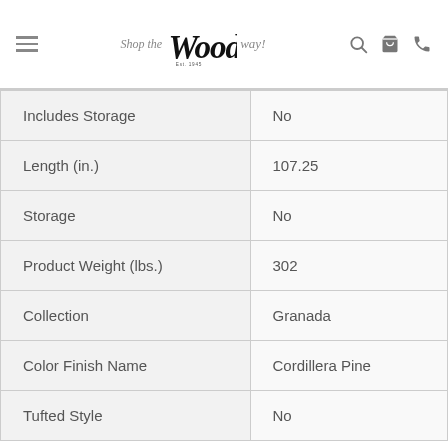Shop the Woods way!
| Attribute | Value |
| --- | --- |
| Includes Storage | No |
| Length (in.) | 107.25 |
| Storage | No |
| Product Weight (lbs.) | 302 |
| Collection | Granada |
| Color Finish Name | Cordillera Pine |
| Tufted Style | No |